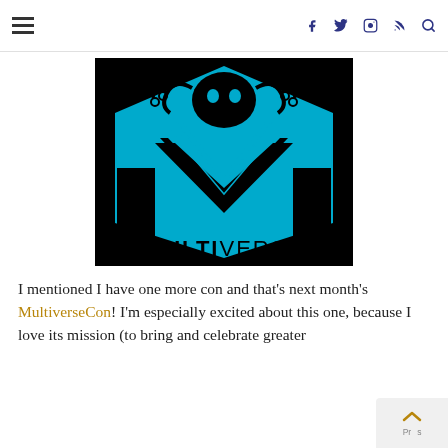Navigation header with hamburger menu and social icons (facebook, twitter, instagram, rss, search)
[Figure (logo): MultiverseCon logo: black and cyan/blue graphic featuring a stylized M shape with an open book design and a skull/octopus creature above, with the word MULTIVERSE below in bold black text on a cyan background]
I mentioned I have one more con and that’s next month’s MultiverseCon! I’m especially excited about this one, because I love its mission (to bring and celebrate greater